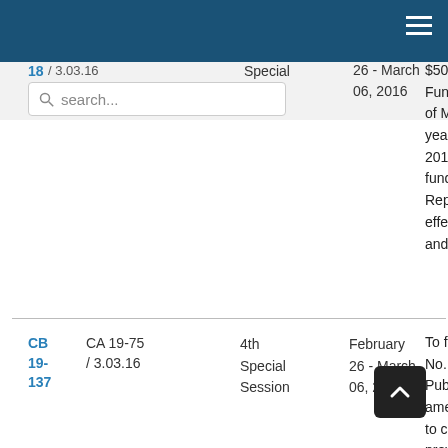(navigation bar with hamburger menu)
18 / 3.03.16   Special   26 - March 06, 2016   $50,000 from the C... Fund of the Federa... of Micronesia for th... year ending Septe... 2016, for the purpo... funding relief effort... Republic of Fiji due... effects of Cyclone... and for other purpo...
CB 19-137   CA 19-75 / 3.03.16   4th Special Session   February 26 - March 06, 2016   To further amend P... No. 19-54, as ame... Public Law No. 19-... amending section ... to change the use ... previously appropr... therein, and pub... projects... socia... in the state of Kosr... other purposes ...